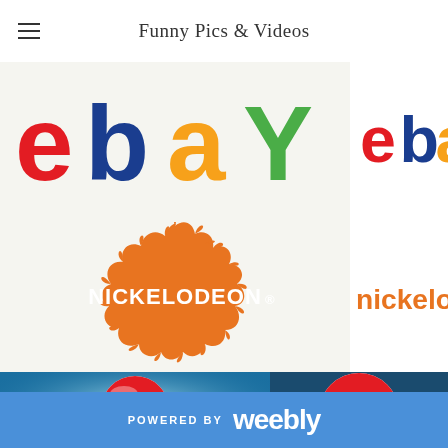Funny Pics & Videos
[Figure (logo): eBay logo (old multicolor) on left, partial new eBay logo on right]
[Figure (logo): Nickelodeon orange splat logo on left, partial new Nickelodeon text logo on right]
[Figure (photo): Old Pepsi globe logo (glossy sphere) on left, new flat Pepsi logo on right]
POWERED BY weebly